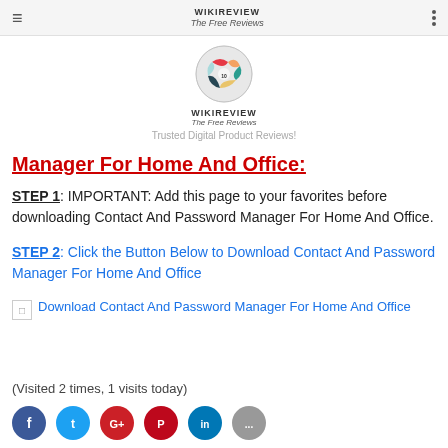WIKIREVIEW The Free Reviews — Trusted Digital Product Reviews!
Manager For Home And Office:
STEP 1: IMPORTANT: Add this page to your favorites before downloading Contact And Password Manager For Home And Office.
STEP 2: Click the Button Below to Download Contact And Password Manager For Home And Office
[Figure (illustration): Broken image placeholder with caption: Download Contact And Password Manager For Home And Office]
(Visited 2 times, 1 visits today)